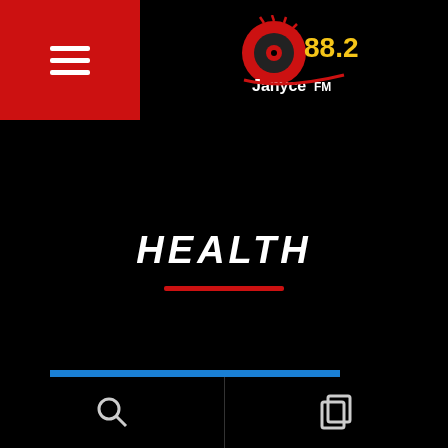[Figure (logo): Janyce FM 88.2 radio station logo with red disc/vinyl graphic and yellow/white text showing 88.2 and Janyce FM]
HEALTH
[Figure (infographic): Red social media share bar with circular white icons for Facebook, Twitter, Pinterest, LinkedIn, WhatsApp, and a heart/like button showing count of 12]
Navigation bar with search and copy icons